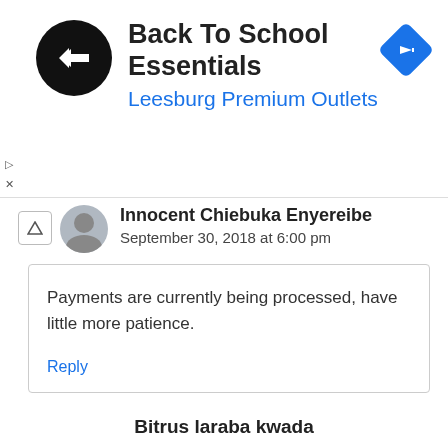[Figure (screenshot): Advertisement banner for Back To School Essentials at Leesburg Premium Outlets, with a black circular logo with double arrow and a blue diamond navigation icon]
Innocent Chiebuka Enyereibe
September 30, 2018 at 6:00 pm
Payments are currently being processed, have little more patience.
Reply
Bitrus laraba kwada